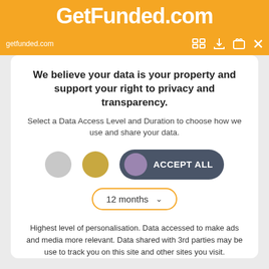GetFunded.com | getfunded.com
We believe your data is your property and support your right to privacy and transparency.
Select a Data Access Level and Duration to choose how we use and share your data.
[Figure (infographic): Three circles (gray, gold, purple) with ACCEPT ALL toggle button, and a 12 months dropdown selector]
Highest level of personalisation. Data accessed to make ads and media more relevant. Data shared with 3rd parties may be use to track you on this site and other sites you visit.
Save my preferences
Customize   Privacy policy